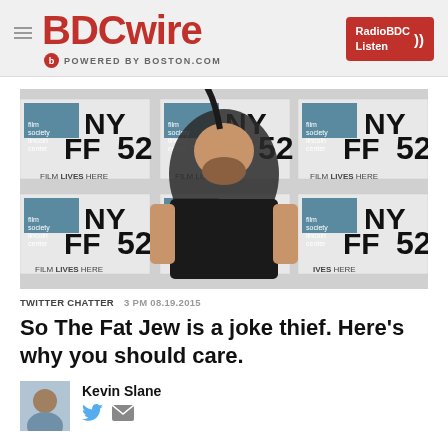BDCwire — POWERED BY BOSTON.COM — RadioBDC Listen
[Figure (photo): Man with a mohawk braid hairstyle and beard standing in front of NYFF52 (New York Film Festival 52) step-and-repeat backdrop]
TWITTER CHATTER   3 PM 08.19.2015
So The Fat Jew is a joke thief. Here's why you should care.
Kevin Slane